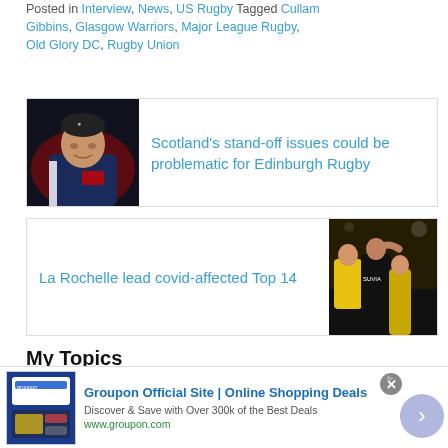Posted in Interview, News, US Rugby Tagged Cullam Gibbins, Glasgow Warriors, Major League Rugby, Old Glory DC, Rugby Union
[Figure (photo): Man in dark beanie and tracksuit jacket, coaching staff photo]
Scotland's stand-off issues could be problematic for Edinburgh Rugby
[Figure (photo): Rugby players in yellow and black jerseys celebrating]
La Rochelle lead covid-affected Top 14
My Topics
Follow topics to stay updated with your favorite content
[Figure (screenshot): Groupon advertisement banner: Groupon Official Site | Online Shopping Deals. Discover & Save with Over 300k of the Best Deals. www.groupon.com]